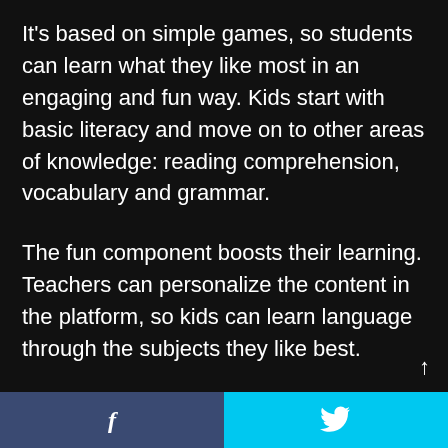It's based on simple games, so students can learn what they like most in an engaging and fun way. Kids start with basic literacy and move on to other areas of knowledge: reading comprehension, vocabulary and grammar.
The fun component boosts their learning. Teachers can personalize the content in the platform, so kids can learn language through the subjects they like best.
Creating packs is the easiest way to personalize kids' education and let their
f  [Twitter bird icon]